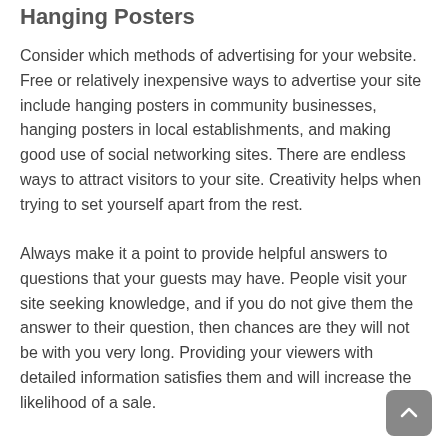Hanging Posters
Consider which methods of advertising for your website. Free or relatively inexpensive ways to advertise your site include hanging posters in community businesses, hanging posters in local establishments, and making good use of social networking sites. There are endless ways to attract visitors to your site. Creativity helps when trying to set yourself apart from the rest.
Always make it a point to provide helpful answers to questions that your guests may have. People visit your site seeking knowledge, and if you do not give them the answer to their question, then chances are they will not be with you very long. Providing your viewers with detailed information satisfies them and will increase the likelihood of a sale.